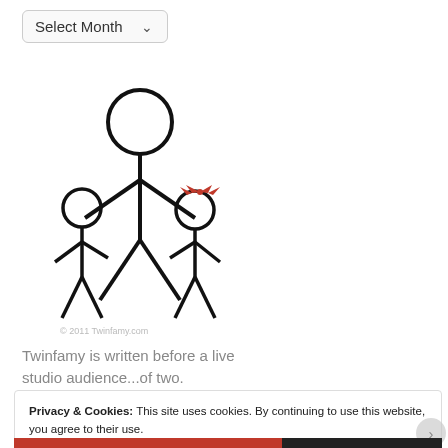[Figure (other): A dropdown/select widget labeled 'Select Month' with a downward chevron arrow, styled with rounded border]
[Figure (illustration): Stick figure illustration showing a tall adult figure holding hands with two smaller child figures, one with a red bow on their head. Copyright 2011 Twinfamy.com]
© 2011 Twinfamy.com
Twinfamy is written before a live studio audience...of two.
Privacy & Cookies: This site uses cookies. By continuing to use this website, you agree to their use.
To find out more, including how to control cookies, see here: Cookie Policy
Close and accept